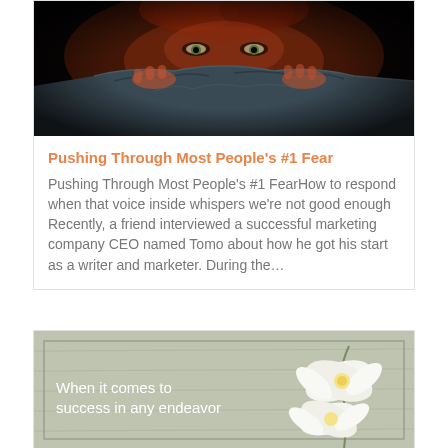[Figure (photo): Person hiding face behind dark fabric/blanket, only eyes visible in dark dramatic lighting with orange-red tones]
Pushing Through Most People's #1 Fear
Pushing Through Most People's #1 FearHow to respond when that voice inside whispers we're not good enough Recently, a friend interviewed a successful marketing company CEO named Tomo about how he got his start as a writer and marketer. During the…
[Figure (photo): Light green/gray textured background with white orchid flowers on the right side, and white text reading 'When it comes to success in any endeavor']